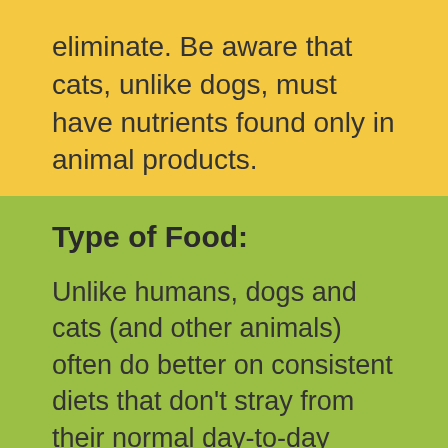eliminate. Be aware that cats, unlike dogs, must have nutrients found only in animal products.
Type of Food:
Unlike humans, dogs and cats (and other animals) often do better on consistent diets that don't stray from their normal day-to-day food. When considering food options, not only your pet's needs but yours